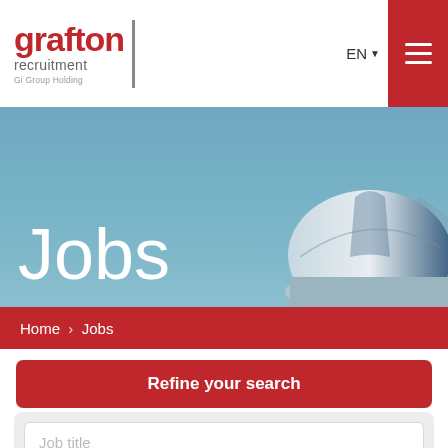[Figure (logo): Grafton Recruitment - Gi Group Holding logo in red and gray]
EN
[Figure (screenshot): Hero banner with Jobs title over a blue-gray industrial/observatory background image]
Jobs
Home > Jobs
Refine your search
Job title
Bratislava - Vajnory